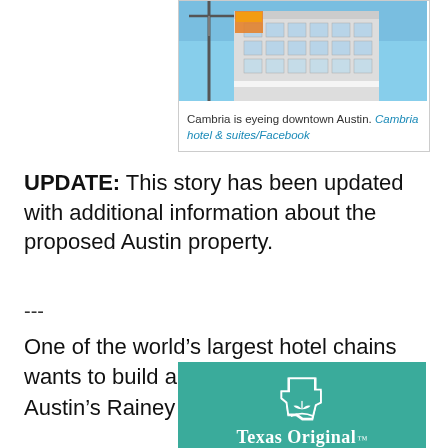[Figure (photo): Photo of a modern hotel building facade viewed from below, showing architectural details with glass windows against a blue sky. A crane is visible on the left.]
Cambria is eyeing downtown Austin. Cambria hotel & suites/Facebook
UPDATE: This story has been updated with additional information about the proposed Austin property.
---
One of the world’s largest hotel chains wants to build an upscale property in Austin’s Rainey Street area.
[Figure (logo): Texas Original logo on teal/green background with a white Texas state silhouette icon above plant/leaves design and the text Texas Original with trademark symbol.]